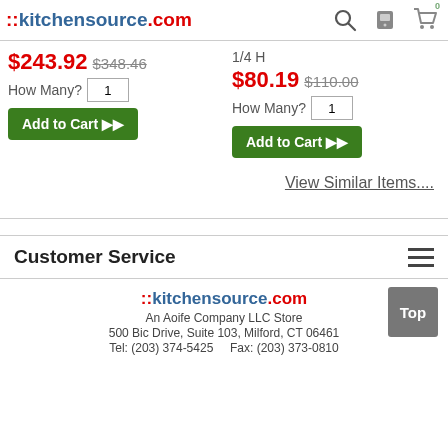::kitchensource.com
$243.92 $348.46
How Many? 1
Add to Cart
1/4 H
$80.19 $110.00
How Many? 1
Add to Cart
View Similar Items....
Customer Service
::kitchensource.com
An Aoife Company LLC Store
500 Bic Drive, Suite 103, Milford, CT 06461
Tel: (203) 374-5425    Fax: (203) 373-0810